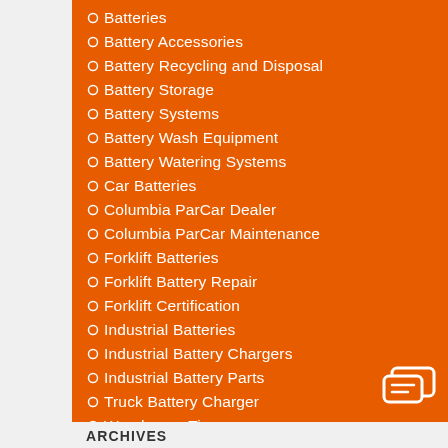Batteries
Battery Accessories
Battery Recycling and Disposal
Battery Storage
Battery Systems
Battery Wash Equipment
Battery Watering Systems
Car Batteries
Columbia ParCar Dealer
Columbia ParCar Maintenance
Forklift Batteries
Forklift Battery Repair
Forklift Certification
Industrial Batteries
Industrial Battery Chargers
Industrial Battery Parts
Truck Battery Charger
Warehouse Tips
ARCHIVES